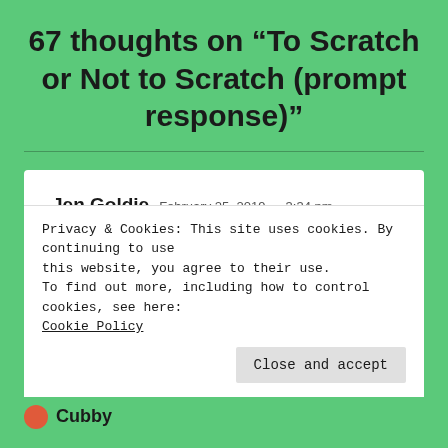67 thoughts on “To Scratch or Not to Scratch (prompt response)”
😂🤣😂 I’m sorry I started laughing half way through…This is good! Go for it! ❤️🌸😊
Jen Goldie  February 25, 2019 — 3:34 pm
Privacy & Cookies: This site uses cookies. By continuing to use this website, you agree to their use.
To find out more, including how to control cookies, see here: Cookie Policy
Close and accept
Cubby